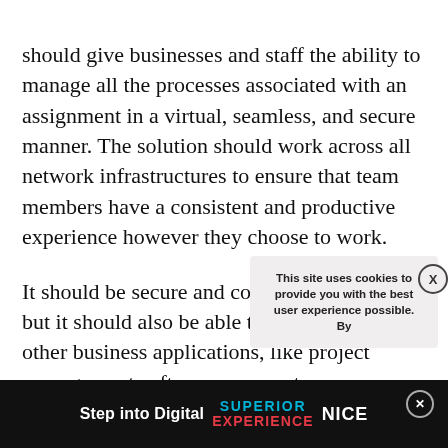should give businesses and staff the ability to manage all the processes associated with an assignment in a virtual, seamless, and secure manner. The solution should work across all network infrastructures to ensure that team members have a consistent and productive experience however they choose to work.
It should be secure and compliant, of course, but it should also be able to integrate with other business applications, like project management software, corporate da[obscured]ensure that the entire tim[obscured] features should be ac[obscured]users should feel empo[obscured] collabor[obscured]
[Figure (screenshot): Cookie consent popup overlay with close button (X in circle). Text reads: 'This site uses cookies to provide you with the best user experience possible. By']
[Figure (screenshot): Bottom banner: dark background with text 'Step into Digital SUPERIOR EXPERIENCE NICE' and a close button (X in circle) on the right.]